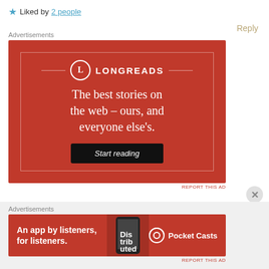★ Liked by 2 people
Reply
Advertisements
[Figure (illustration): Longreads advertisement banner with red background. Logo with L in circle, text 'LONGREADS', tagline 'The best stories on the web – ours, and everyone else's.' and a 'Start reading' button.]
REPORT THIS AD
Advertisements
[Figure (illustration): Pocket Casts advertisement banner with red background. Text 'An app by listeners, for listeners.' with Pocket Casts logo and phone image.]
REPORT THIS AD